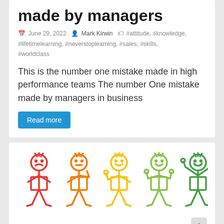made by managers
June 29, 2022  Mark Kirwin  #attitude, #knowledge, #lifetimelearning, #neverstoplearning, #sales, #skills, #worldclass
This is the number one mistake made in high performance teams The number One mistake made by managers in business
Read more
[Figure (illustration): Five stick figures in a progression from unhappy (red) to very happy (green), representing a satisfaction or performance scale.]